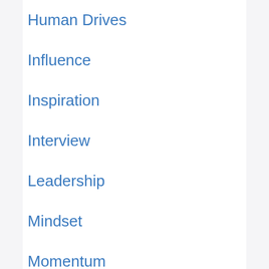Human Drives
Influence
Inspiration
Interview
Leadership
Mindset
Momentum
Motivation
Parenting